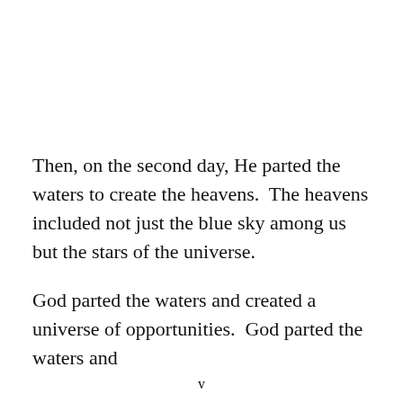Then, on the second day, He parted the waters to create the heavens.  The heavens included not just the blue sky among us but the stars of the universe.
God parted the waters and created a universe of opportunities.  God parted the waters and
v